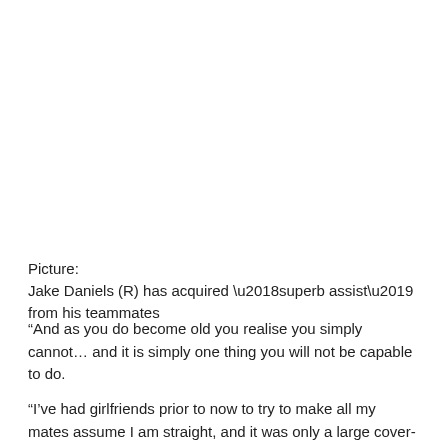Picture:
Jake Daniels (R) has acquired ‘superb assist’ from his teammates
“And as you do become old you realise you simply cannot… and it is simply one thing you will not be capable to do.
“I’ve had girlfriends prior to now to try to make all my mates assume I am straight, and it was only a large cover-